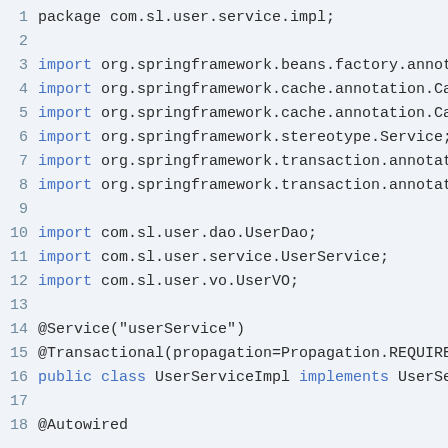1  package com.sl.user.service.impl;
2
3  import org.springframework.beans.factory.annotat
4  import org.springframework.cache.annotation.Cach
5  import org.springframework.cache.annotation.Cach
6  import org.springframework.stereotype.Service;
7  import org.springframework.transaction.annotatio
8  import org.springframework.transaction.annotatio
9
10 import com.sl.user.dao.UserDao;
11 import com.sl.user.service.UserService;
12 import com.sl.user.vo.UserVO;
13
14 @Service("userService")
15 @Transactional(propagation=Propagation.REQUIRED,
16 public class UserServiceImpl implements UserServ
17
18     @Autowired